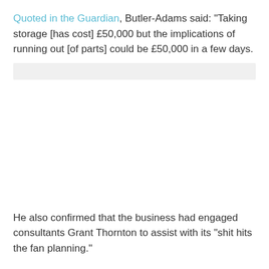Quoted in the Guardian, Butler-Adams said: “Taking storage [has cost] £50,000 but the implications of running out [of parts] could be £50,000 in a few days.
[Figure (other): A light gray placeholder bar, likely representing an embedded image or media element.]
He also confirmed that the business had engaged consultants Grant Thornton to assist with its “shit hits the fan planning.”